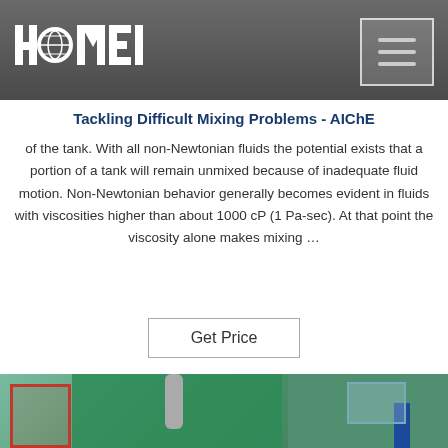[Figure (logo): HAOMEI company logo in white on dark grey header bar with hamburger menu button on the right]
Tackling Difficult Mixing Problems - AIChE
of the tank. With all non-Newtonian fluids the potential exists that a portion of a tank will remain unmixed because of inadequate fluid motion. Non-Newtonian behavior generally becomes evident in fluids with viscosities higher than about 1000 cP (1 Pa-sec). At that point the viscosity alone makes mixing …
Get Price
[Figure (photo): Industrial machinery photo showing green metal frame structure with red scaffolding on the left, hoses/pipes, and blue structural element on the right]